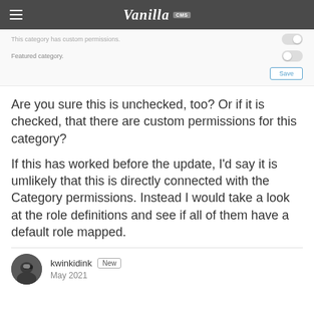Vanilla CMS
This category has custom permissions.
Featured category.
Are you sure this is unchecked, too? Or if it is checked, that there are custom permissions for this category?
If this has worked before the update, I'd say it is umlikely that this is directly connected with the Category permissions. Instead I would take a look at the role definitions and see if all of them have a default role mapped.
kwinkidink New
May 2021